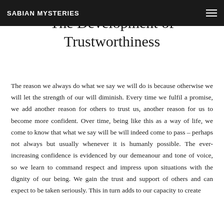SABIAN MYSTERIES
The Development of Trustworthiness
The reason we always do what we say we will do is because otherwise we will let the strength of our will diminish. Every time we fulfil a promise, we add another reason for others to trust us, another reason for us to become more confident. Over time, being like this as a way of life, we come to know that what we say will be will indeed come to pass – perhaps not always but usually whenever it is humanly possible. The ever-increasing confidence is evidenced by our demeanour and tone of voice, so we learn to command respect and impress upon situations with the dignity of our being. We gain the trust and support of others and can expect to be taken seriously. This in turn adds to our capacity to create